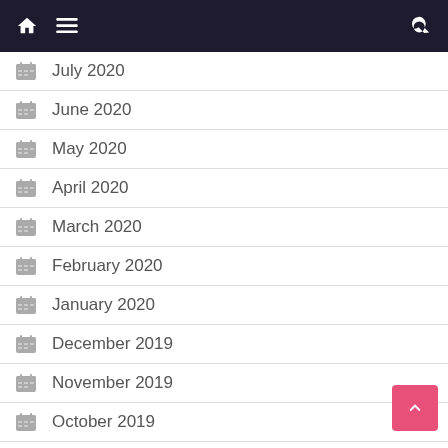Navigation header with home icon, menu icon, and search icon
July 2020
June 2020
May 2020
April 2020
March 2020
February 2020
January 2020
December 2019
November 2019
October 2019
September 2019